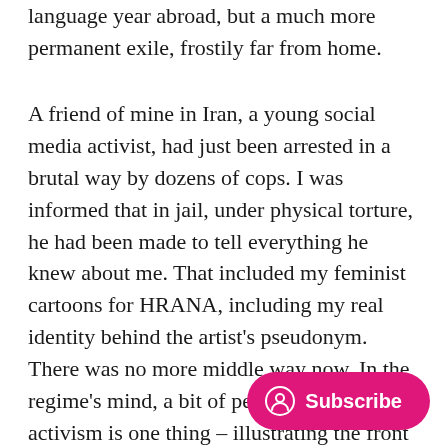language year abroad, but a much more permanent exile, frostily far from home.
A friend of mine in Iran, a young social media activist, had just been arrested in a brutal way by dozens of cops. I was informed that in jail, under physical torture, he had been made to tell everything he knew about me. That included my feminist cartoons for HRANA, including my real identity behind the artist's pseudonym. There was no more middle way now. In the regime's mind, a bit of petty student activism is one thing – illustrating the front cover of Iran's number one dissident magazine is quite another: A matter of many years in prison. Now, all I could do was make an asylum claim. I have alwa fearful to do so - a leap into the unknown, the